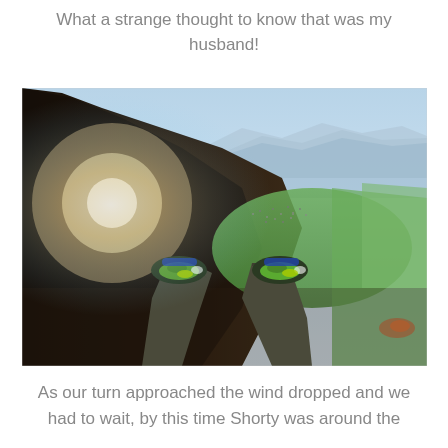What a strange thought to know that was my husband!
[Figure (photo): First-person perspective aerial/paragliding photo showing a person's legs and brightly colored shoes (green, blue) dangling in the air high above a mountain valley town with green fields, a mountain in shadow on the left with sunlight behind it, and a mountain range in the background under blue sky.]
As our turn approached the wind dropped and we had to wait, by this time Shorty was around the